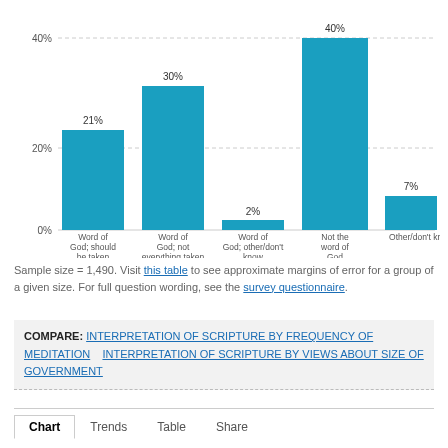[Figure (bar-chart): ]
Sample size = 1,490. Visit this table to see approximate margins of error for a group of a given size. For full question wording, see the survey questionnaire.
COMPARE: INTERPRETATION OF SCRIPTURE BY FREQUENCY OF MEDITATION   INTERPRETATION OF SCRIPTURE BY VIEWS ABOUT SIZE OF GOVERNMENT